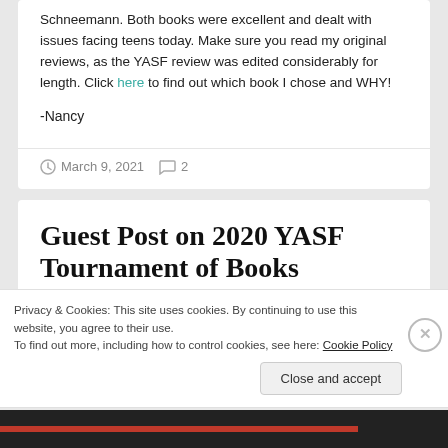Schneemann. Both books were excellent and dealt with issues facing teens today. Make sure you read my original reviews, as the YASF review was edited considerably for length. Click here to find out which book I chose and WHY!
-Nancy
March 9, 2021   2
Guest Post on 2020 YASF Tournament of Books
Privacy & Cookies: This site uses cookies. By continuing to use this website, you agree to their use. To find out more, including how to control cookies, see here: Cookie Policy
Close and accept